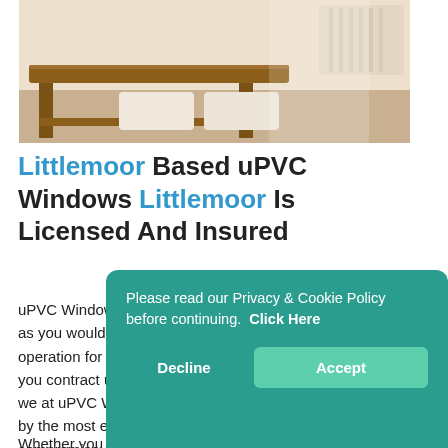[Figure (photo): Interior room photo showing wooden furniture (bench/table) and light-coloured upholstered seating, with natural light]
Littlemoor Based uPVC Windows Littlemoor Is Licensed And Insured
uPVC Windows Littlemoor is fully registered and certified as you would expect of a business that has been in operation for several decades. You can rest assured when you contract us for our solutions and services, because we at uPVC Windows Littlemoor are completely covered by the most excellent insurance policies. We don't compromise on the work that we d… still certified after s…
Whether you order uPVC Windows…
Please read our Privacy & Cookie Policy before continuing.  Click Here

Decline    Accept